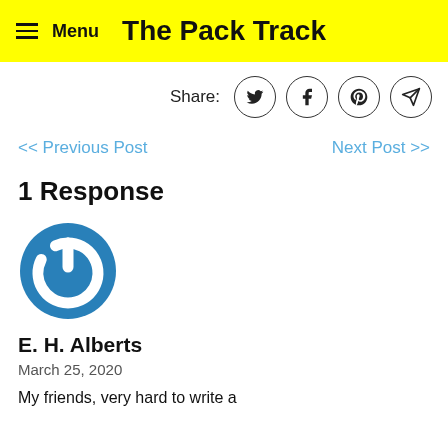Menu | The Pack Track
Share:
<< Previous Post
Next Post >>
1 Response
[Figure (logo): Blue circular power button icon — avatar for commenter E. H. Alberts]
E. H. Alberts
March 25, 2020
My friends, very hard to write a